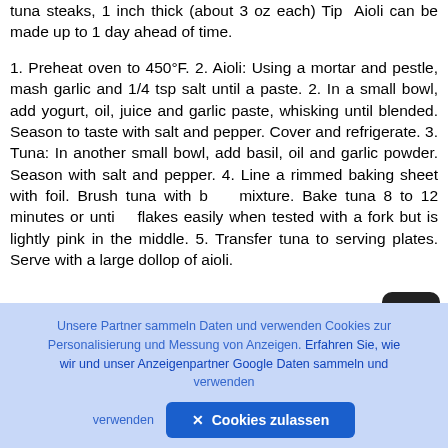tuna steaks, 1 inch thick (about 3 oz each) Tip  Aioli can be made up to 1 day ahead of time.
1. Preheat oven to 450°F. 2. Aioli: Using a mortar and pestle, mash garlic and 1/4 tsp salt until a paste. 2. In a small bowl, add yogurt, oil, juice and garlic paste, whisking until blended. Season to taste with salt and pepper. Cover and refrigerate. 3. Tuna: In another small bowl, add basil, oil and garlic powder. Season with salt and pepper. 4. Line a rimmed baking sheet with foil. Brush tuna with basil mixture. Bake tuna 8 to 12 minutes or until it flakes easily when tested with a fork but is lightly pink in the middle. 5. Transfer tuna to serving plates. Serve with a large dollop of aioli.
Unsere Partner sammeln Daten und verwenden Cookies zur Personalisierung und Messung von Anzeigen. Erfahren Sie, wie wir und unser Anzeigenpartner Google Daten sammeln und verwenden